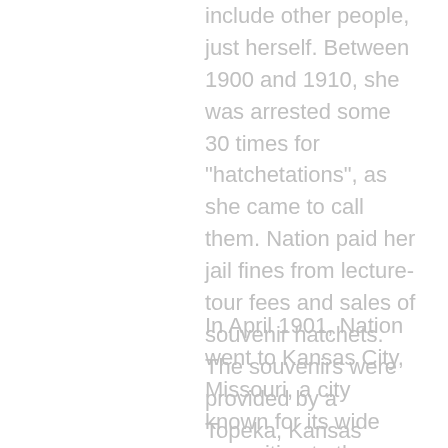include other people, just herself. Between 1900 and 1910, she was arrested some 30 times for "hatchetations", as she came to call them. Nation paid her jail fines from lecture-tour fees and sales of souvenir hatchets. The souvenirs were provided by a Topeka, Kansas pharmacist. Engraved on the handle of the hatchet, the pin reads, “Death to Rum”.
In April 1901, Nation went to Kansas City, Missouri, a city known for its wide opposition to the temperance movement, and smashed liquor in various bars on 12th Street in downtown Kansas City. She was